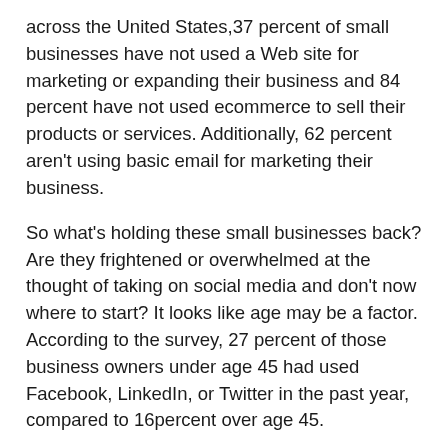across the United States,37 percent of small businesses have not used a Web site for marketing or expanding their business and 84 percent have not used ecommerce to sell their products or services. Additionally, 62 percent aren't using basic email for marketing their business.
So what's holding these small businesses back? Are they frightened or overwhelmed at the thought of taking on social media and don't now where to start? It looks like age may be a factor. According to the survey, 27 percent of those business owners under age 45 had used Facebook, LinkedIn, or Twitter in the past year, compared to 16percent over age 45.
There's a huge opportunity for small businesses to impact their sales through some straight forward tools. If you haven't jumped on the social media bandwagon, start by sending marketing email messages to promote a particular service, discount or holiday promotion. Next, secure your online presence by creating a simple Web site- your prospects and customers expect it. While it may seem daunting at first to tackle Facebook, Twitter and LinkedIn, there are Web sites